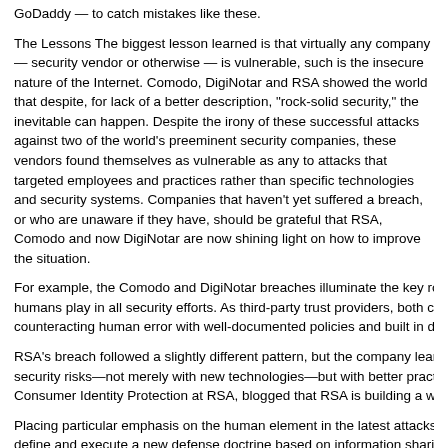GoDaddy — to catch mistakes like these.
The Lessons The biggest lesson learned is that virtually any company — security vendor or otherwise — is vulnerable, such is the insecure nature of the Internet. Comodo, DigiNotar and RSA showed the world that despite, for lack of a better description, "rock-solid security," the inevitable can happen. Despite the irony of these successful attacks against two of the world's preeminent security companies, these vendors found themselves as vulnerable as any to attacks that targeted employees and practices rather than specific technologies and security systems. Companies that haven't yet suffered a breach, or who are unaware if they have, should be grateful that RSA, Comodo and now DigiNotar are now shining light on how to improve the situation.
For example, the Comodo and DigiNotar breaches illuminate the key role that humans play in all security efforts. As third-party trust providers, both certificate auth counteracting human error with well-documented policies and built in dual controls f
RSA's breach followed a slightly different pattern, but the company learned a similar security risks—not merely with new technologies—but with better practices. Uri Riv Consumer Identity Protection at RSA, blogged that RSA is building a whole new "de
Placing particular emphasis on the human element in the latest attacks, Rivner wrot define and execute a new defense doctrine based on information sharing, deep ana